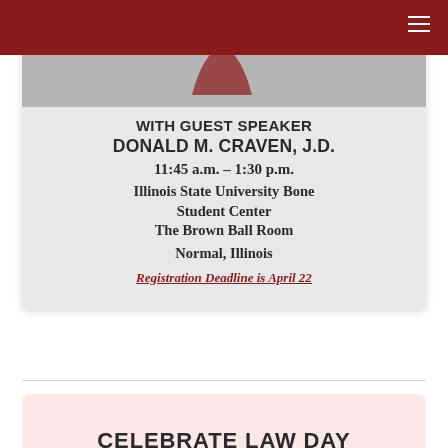WITH GUEST SPEAKER
DONALD M. CRAVEN, J.D.
11:45 a.m. – 1:30 p.m.
Illinois State University Bone Student Center
The Brown Ball Room
Normal, Illinois
Registration Deadline is April 22
CELEBRATE LAW DAY